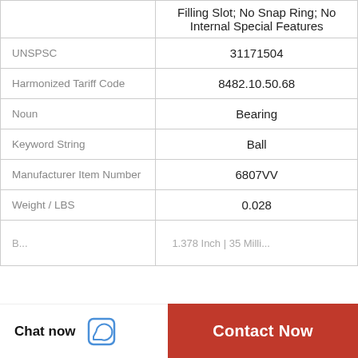| Attribute | Value |
| --- | --- |
|  | Filling Slot; No Snap Ring; No Internal Special Features |
| UNSPSC | 31171504 |
| Harmonized Tariff Code | 8482.10.50.68 |
| Noun | Bearing |
| Keyword String | Ball |
| Manufacturer Item Number | 6807VV |
| Weight / LBS | 0.028 |
|  | 1.378 Inch | 35 Milli... |
[Figure (logo): WhatsApp Online badge with green phone icon and italic bold text 'WhatsApp Online']
Chat now
Contact Now